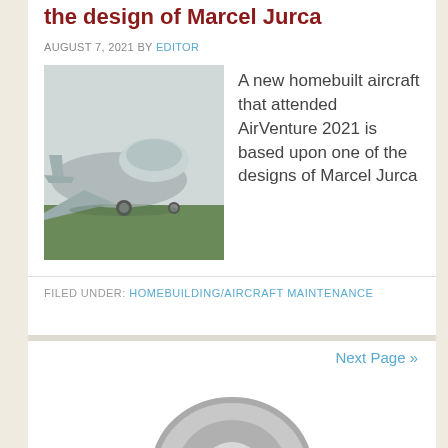the design of Marcel Jurca
AUGUST 7, 2021 BY EDITOR
[Figure (photo): A homebuilt aircraft parked on grass, viewed from the side/rear, showing fuselage and wing, in grey/silver color.]
A new homebuilt aircraft that attended AirVenture 2021 is based upon one of the designs of Marcel Jurca
FILED UNDER: HOMEBUILDING/AIRCRAFT MAINTENANCE
Next Page »